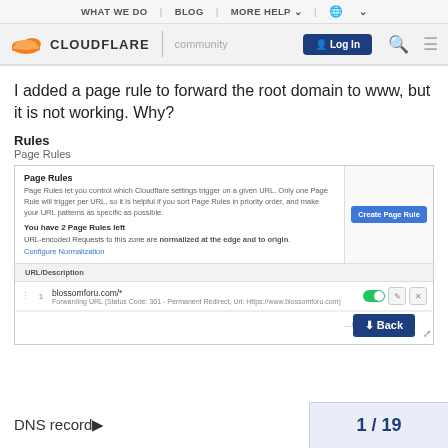WHAT WE DO | BLOG | MORE HELP | globe
[Figure (screenshot): Cloudflare community navigation header with logo, community label, Log In button, search and menu icons]
I added a page rule to forward the root domain to www, but it is not working. Why?
Rules
Page Rules
[Figure (screenshot): Cloudflare dashboard screenshot showing Page Rules interface with one rule: blossomforu.com/* Forwarding URL (Status Code: 301 - Permanent Redirect, Url: Https://www.blossomforu.com) with toggle enabled, and Create Page Rule button]
DNS record
1 / 19